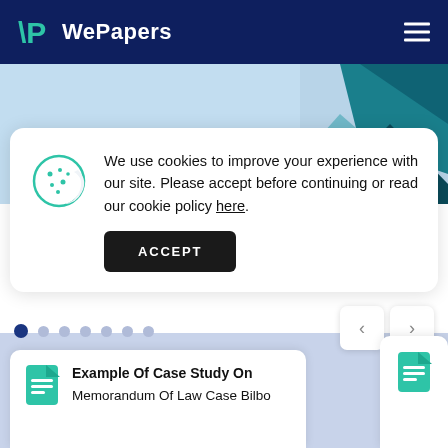WePapers
[Figure (illustration): Hero banner with light blue and teal geometric hexagonal shapes on a light background]
We use cookies to improve your experience with our site. Please accept before continuing or read our cookie policy here.
ACCEPT
Example Of Case Study On Memorandum Of Law Case Bilbo